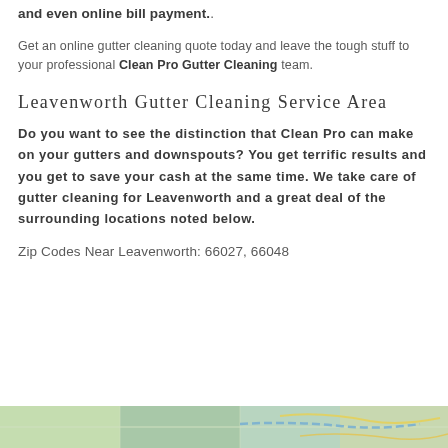and even online bill payment..
Get an online gutter cleaning quote today and leave the tough stuff to your professional Clean Pro Gutter Cleaning team.
Leavenworth Gutter Cleaning Service Area
Do you want to see the distinction that Clean Pro can make on your gutters and downspouts? You get terrific results and you get to save your cash at the same time. We take care of gutter cleaning for Leavenworth and a great deal of the surrounding locations noted below.
Zip Codes Near Leavenworth: 66027, 66048
[Figure (map): Map showing the Leavenworth area service region with green background and road markings]